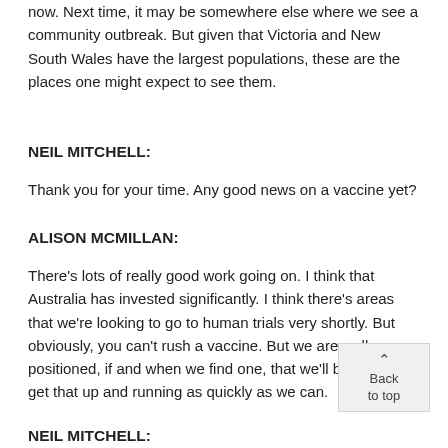now. Next time, it may be somewhere else where we see a community outbreak. But given that Victoria and New South Wales have the largest populations, these are the places one might expect to see them.
NEIL MITCHELL:
Thank you for your time. Any good news on a vaccine yet?
ALISON MCMILLAN:
There's lots of really good work going on. I think that Australia has invested significantly. I think there's areas that we're looking to go to human trials very shortly. But obviously, you can't rush a vaccine. But we are well positioned, if and when we find one, that we'll be able to get that up and running as quickly as we can.
NEIL MITCHELL: